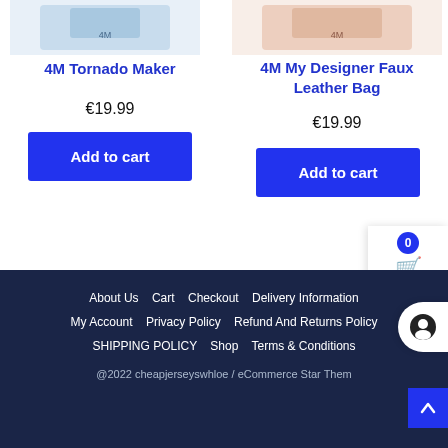[Figure (photo): Product image for 4M Tornado Maker (partially visible at top)]
4M Tornado Maker
€19.99
Add to cart
[Figure (photo): Product image for 4M My Designer Faux Leather Bag (partially visible at top)]
4M My Designer Faux Leather Bag
€19.99
Add to cart
0
€0.00
About Us   Cart   Checkout   Delivery Information   My Account   Privacy Policy   Refund And Returns Policy   SHIPPING POLICY   Shop   Terms & Conditions
@2022 cheapjerseyswhloe / eCommerce Star Them